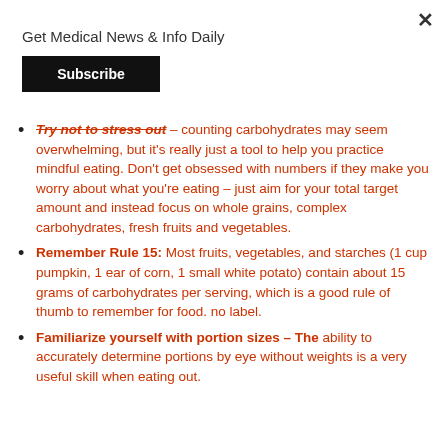Get Medical News & Info Daily
Subscribe
Try not to stress out – counting carbohydrates may seem overwhelming, but it's really just a tool to help you practice mindful eating. Don't get obsessed with numbers if they make you worry about what you're eating – just aim for your total target amount and instead focus on whole grains, complex carbohydrates, fresh fruits and vegetables.
Remember Rule 15: Most fruits, vegetables, and starches (1 cup pumpkin, 1 ear of corn, 1 small white potato) contain about 15 grams of carbohydrates per serving, which is a good rule of thumb to remember for food. no label.
Familiarize yourself with portion sizes – The ability to accurately determine portions by eye without weights is a very useful skill when eating out.